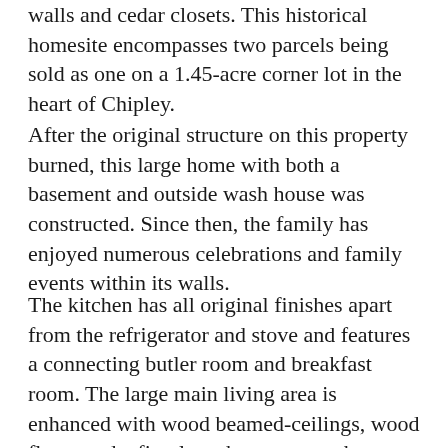walls and cedar closets. This historical homesite encompasses two parcels being sold as one on a 1.45-acre corner lot in the heart of Chipley.
After the original structure on this property burned, this large home with both a basement and outside wash house was constructed. Since then, the family has enjoyed numerous celebrations and family events within its walls.
The kitchen has all original finishes apart from the refrigerator and stove and features a connecting butler room and breakfast room. The large main living area is enhanced with wood beamed-ceilings, wood floors and a fireplace that opens to the entry foyer and dining room. A room used as a parlor or study, featuring wood beamed-ceilings, walls